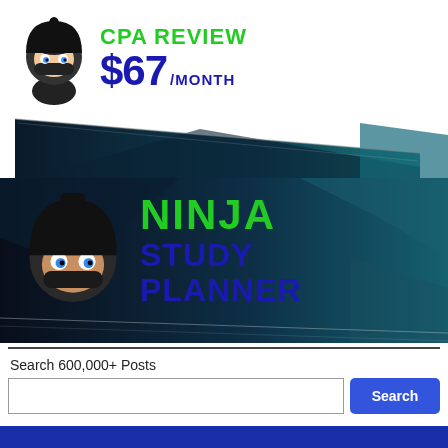[Figure (logo): CPA Review $67/month banner with ninja mascot character, green 'CPA REVIEW' text and large dark blue '$67/MONTH' price]
[Figure (logo): Dark teal diagonal ribbon/banner graphic divider]
[Figure (logo): Ninja Study Planner banner with ninja mascot, green 'NINJA' text and dark blue 'STUDY PLANNER' text on dark background]
Search 600,000+ Posts
[Figure (screenshot): Search input box and blue Search button]